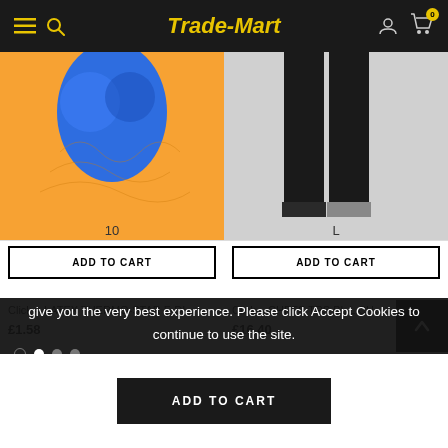Trade-Mart
[Figure (screenshot): Product image: orange and blue latex thermal gloves, size 10]
ADD TO CART
[Figure (screenshot): Product image: black chef trousers, size L]
ADD TO CART
Click – LATEX THERMO-STAR F-DI...
£1.58
Click – CHEFS TRS BL L CHT C...
£16.40
The cookie settings on this website are set to 'allow all cookies' to give you the very best experience. Please click Accept Cookies to continue to use the site.
PRIVACY POLICY   ACCEPT ✓
ADD TO CART